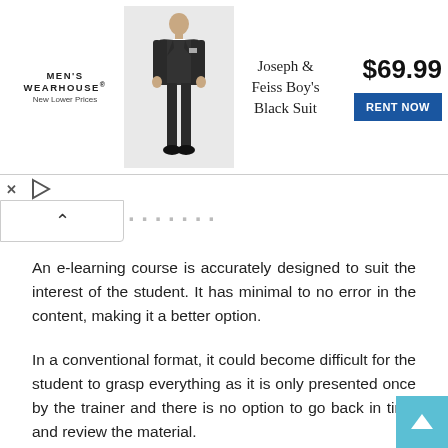[Figure (screenshot): Men's Wearhouse advertisement banner showing a boy in a black suit (Joseph & Feiss Boy's Black Suit), priced at $69.99 with a 'RENT NOW' button.]
An e-learning course is accurately designed to suit the interest of the student. It has minimal to no error in the content, making it a better option.
In a conventional format, it could become difficult for the student to grasp everything as it is only presented once by the trainer and there is no option to go back in time and review the material.
19. Cost
Your budget determines the type of education you can undertake. It is a key factor because there is a vast difference